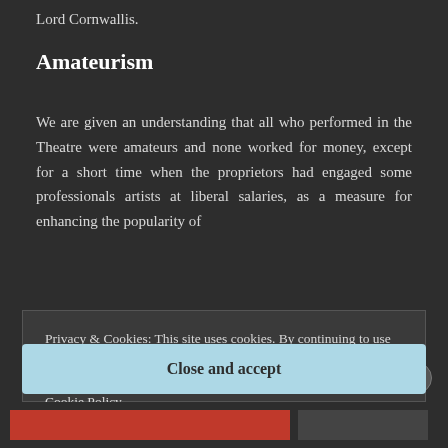Lord Cornwallis.
Amateurism
We are given an understanding that all who performed in the Theatre were amateurs and none worked for money, except for a short time when the proprietors had engaged some professionals artists at liberal salaries, as a measure for enhancing the popularity of
Privacy & Cookies: This site uses cookies. By continuing to use this website, you agree to their use.
To find out more, including how to control cookies, see here: Cookie Policy
Close and accept